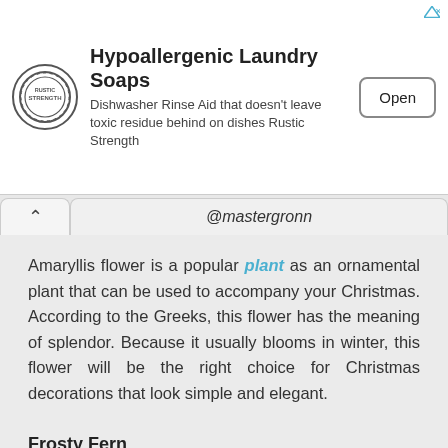[Figure (logo): Rustic Strength circular logo with gear/stamp style border]
Hypoallergenic Laundry Soaps
Dishwasher Rinse Aid that doesn't leave toxic residue behind on dishes Rustic Strength
Open
@mastergronn
Amaryllis flower is a popular plant as an ornamental plant that can be used to accompany your Christmas. According to the Greeks, this flower has the meaning of splendor. Because it usually blooms in winter, this flower will be the right choice for Christmas decorations that look simple and elegant.
Frosty Fern